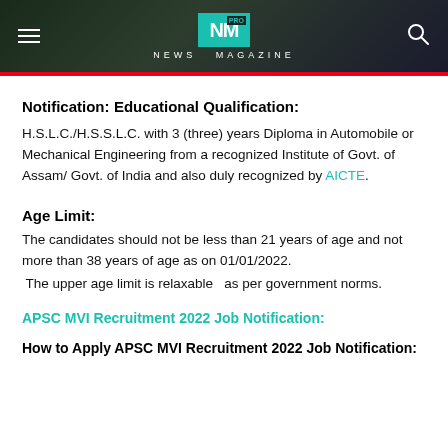NEWS MAGAZINE
Notification:
Educational Qualification:
H.S.L.C./H.S.S.L.C. with 3 (three) years Diploma in Automobile or Mechanical Engineering from a recognized Institute of Govt. of Assam/ Govt. of India and also duly recognized by AICTE.
Age Limit:
The candidates should not be less than 21 years of age and not more than 38 years of age as on 01/01/2022.
The upper age limit is relaxable  as per government norms.
APSC MVI Recruitment 2022 Job Notification:
How to Apply APSC MVI Recruitment 2022 Job Notification: